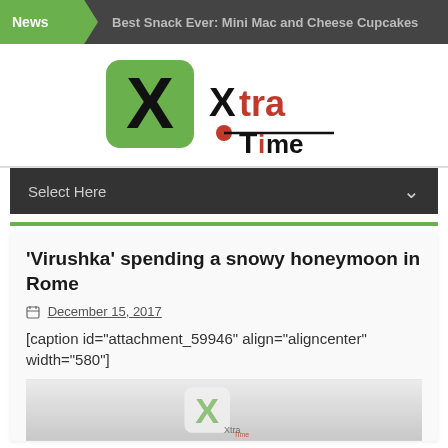News  Best Snack Ever: Mini Mac and Cheese Cupcakes
[Figure (logo): XtraTime logo with green rounded square containing an X, and 'Xtra' in black/red and 'Time' text with red dot]
Select Here
'Virushka' spending a snowy honeymoon in Rome
December 15, 2017
[caption id="attachment_59946" align="aligncenter" width="580"]
[Figure (photo): Partially visible photo showing the XtraTime logo watermark on a snowy background]